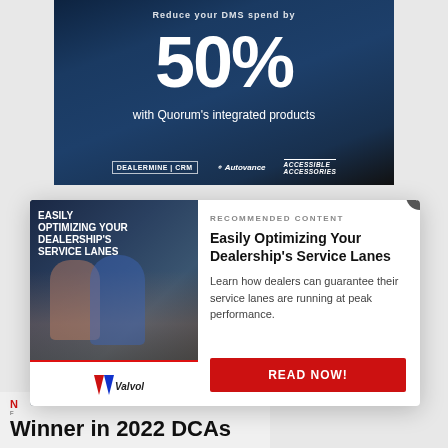[Figure (photo): Advertisement banner with dark asphalt road background. Text shows '50%' in large white bold font and 'with Quorum's integrated products'. Logos at bottom: DEALERMINE CRM, Autovance, Accessible Accessories.]
[Figure (photo): Popup modal overlay. Left side shows image of two people examining a car with white text 'EASILY OPTIMIZING YOUR DEALERSHIP'S SERVICE LANES' and Valvoline logo below. Right side shows recommended content text and red READ NOW button.]
RECOMMENDED CONTENT
Easily Optimizing Your Dealership's Service Lanes
Learn how dealers can guarantee their service lanes are running at peak performance.
READ NOW!
Winner in 2022 DCAs